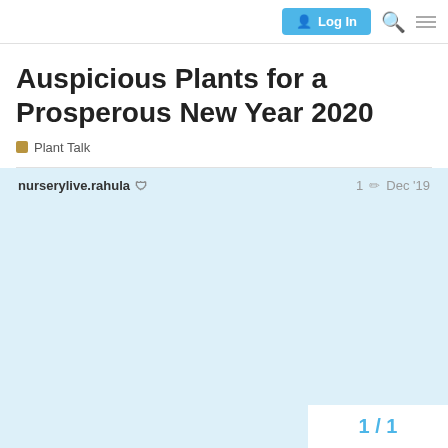Log In
Auspicious Plants for a Prosperous New Year 2020
Plant Talk
nurserylive.rahula  1  Dec '19
1 / 1